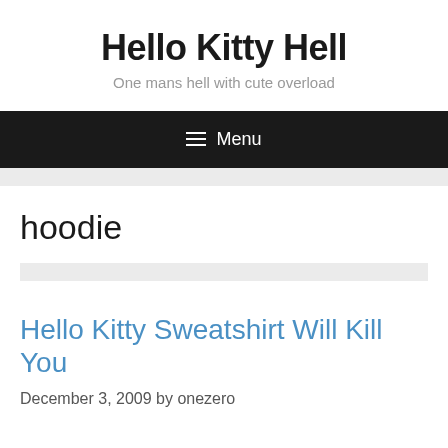Hello Kitty Hell
One mans hell with cute overload
≡ Menu
hoodie
Hello Kitty Sweatshirt Will Kill You
December 3, 2009 by onezero